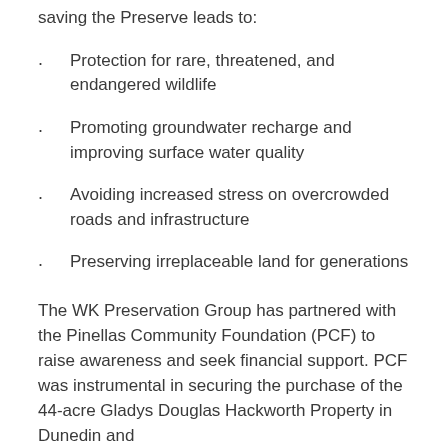saving the Preserve leads to:
Protection for rare, threatened, and endangered wildlife
Promoting groundwater recharge and improving surface water quality
Avoiding increased stress on overcrowded roads and infrastructure
Preserving irreplaceable land for generations
The WK Preservation Group has partnered with the Pinellas Community Foundation (PCF) to raise awareness and seek financial support. PCF was instrumental in securing the purchase of the 44-acre Gladys Douglas Hackworth Property in Dunedin and